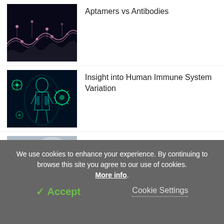Aptamers vs Antibodies
Insight into Human Immune System Variation
What is Industrial Biotechnology?
We use cookies to enhance your experience. By continuing to browse this site you agree to our use of cookies. More info.
✓ Accept
Cookie Settings